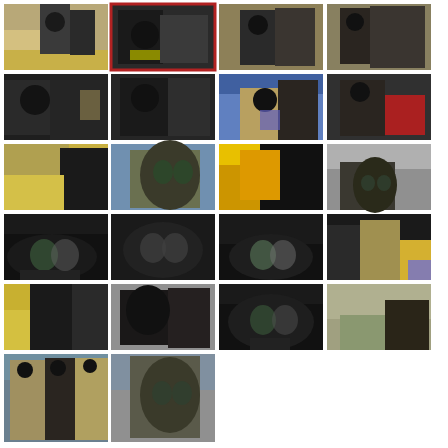[Figure (photo): Grid of 18 military/hazmat personnel photos showing people in CBRN protective gear, gas masks, and tactical equipment during training or operations. Photos arranged in 4-column grid with 6 rows. Second photo in first row has red selection border.]